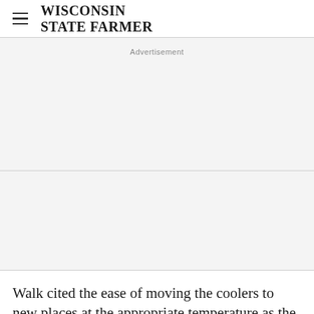WISCONSIN STATE FARMER
Advertisement
Walk cited the ease of moving the coolers to new places at the appropriate temperature as the weather changes and pointed out how the coolers